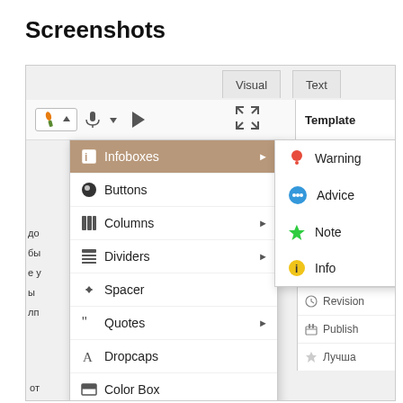Screenshots
[Figure (screenshot): WordPress editor screenshot showing an Infoboxes dropdown menu with options: Warning, Advice, Note, Info. The main menu also shows Buttons, Columns, Dividers, Spacer, Quotes, Dropcaps, Color Box, Blur Spoiler. Right sidebar shows Template panel with Status, Visibility, Revision, Publish items.]